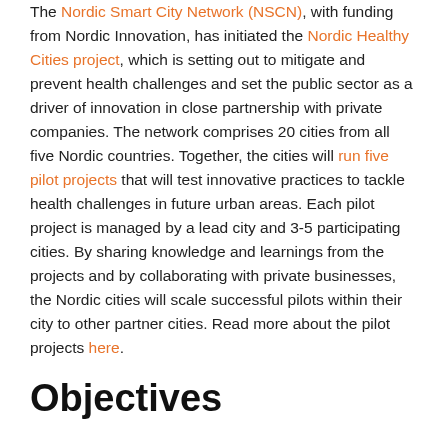The Nordic Smart City Network (NSCN), with funding from Nordic Innovation, has initiated the Nordic Healthy Cities project, which is setting out to mitigate and prevent health challenges and set the public sector as a driver of innovation in close partnership with private companies. The network comprises 20 cities from all five Nordic countries. Together, the cities will run five pilot projects that will test innovative practices to tackle health challenges in future urban areas. Each pilot project is managed by a lead city and 3-5 participating cities. By sharing knowledge and learnings from the projects and by collaborating with private businesses, the Nordic cities will scale successful pilots within their city to other partner cities. Read more about the pilot projects here.
Objectives
The aim of Nordic Healthy Cities is to create supportive urban environments and living, to improve health and